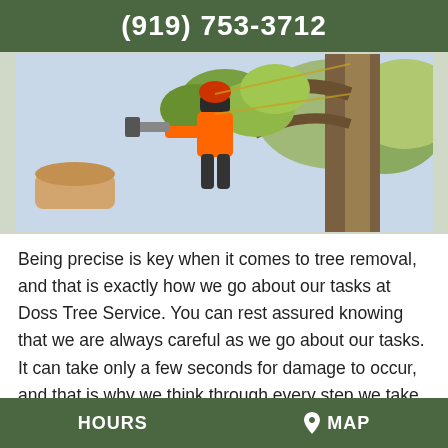(919) 753-3712
[Figure (photo): A tree service worker in orange safety gear and helmet using a chainsaw while climbing in a tree, with cut logs and green foliage visible.]
Being precise is key when it comes to tree removal, and that is exactly how we go about our tasks at Doss Tree Service. You can rest assured knowing that we are always careful as we go about our tasks. It can take only a few seconds for damage to occur, and that is why we think through every step we take. If you have a tree that is close to a structure on your
HOURS   MAP